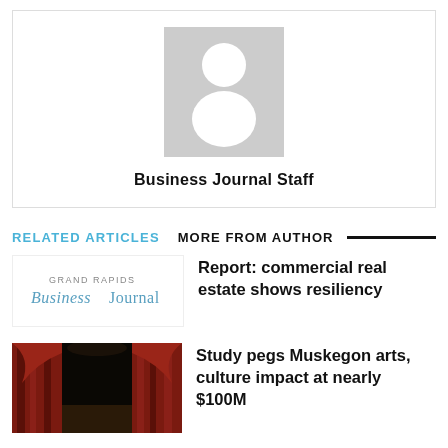[Figure (illustration): Author avatar placeholder with gray background and white silhouette person icon]
Business Journal Staff
RELATED ARTICLES   MORE FROM AUTHOR
[Figure (logo): Grand Rapids Business Journal logo]
Report: commercial real estate shows resiliency
[Figure (photo): Theater stage with red curtains and dark lighting]
Study pegs Muskegon arts, culture impact at nearly $100M